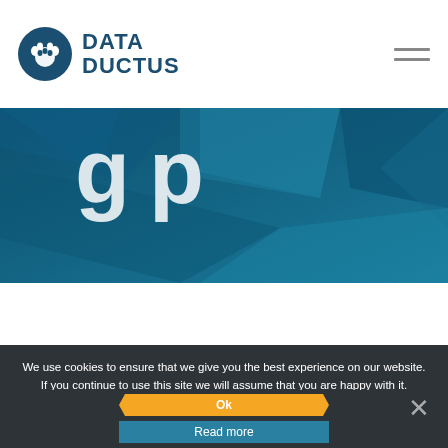[Figure (logo): Data Ductus logo: blue circle with white paw print icon and 'DATA DUCTUS' text in dark blue]
[Figure (illustration): Hamburger menu icon — two horizontal grey lines in top-right corner]
[Figure (illustration): Hero banner with dark teal geometric polygon background and partial large white title text 'g p' visible]
We use cookies to ensure that we give you the best experience on our website. If you continue to use this site we will assume that you are happy with it.
Ok
Read more